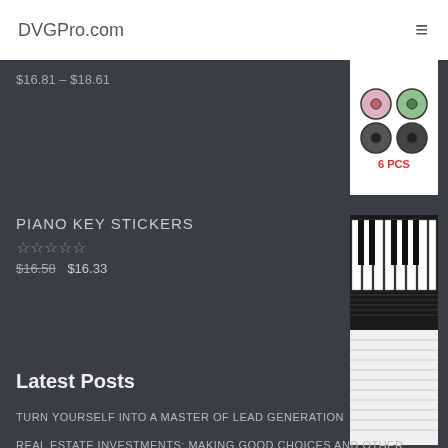DVGPro.com
$16.81 – $18.61
[Figure (photo): 4 vinyl record discs with colorful labels, labeled 6 PCS]
PIANO KEY STICKERS
☆☆☆☆☆
$16.58  $16.33
[Figure (photo): Piano keys sticker product image showing piano keyboard with note labels]
Latest Posts
TURN YOURSELF INTO A MASTER OF LEAD GENERATION
REAL ESTATE INVESTMENTS: MAKING GOOD CHOICES AND OTHER TIPS